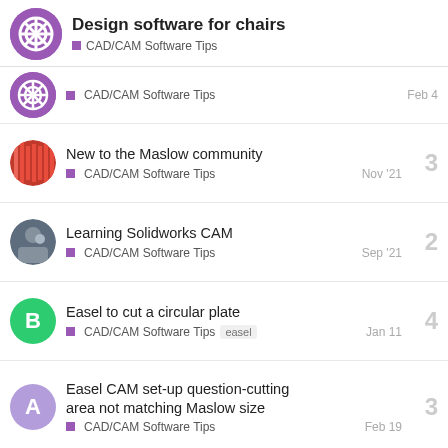Design software for chairs
CAD/CAM Software Tips
CAD/CAM Software Tips — Feb 4
New to the Maslow community — CAD/CAM Software Tips — Nov '21 — 3 replies
Learning Solidworks CAM — CAD/CAM Software Tips — Sep '21 — 2 replies
Easel to cut a circular plate — CAD/CAM Software Tips easel — Jan 11 — 4 replies
Easel CAM set-up question-cutting area not matching Maslow size — CAD/CAM Software Tips — Feb 19 — 3 replies
Want to read more? Browse other topics in CAD/CAM Softwar... or view latest topics.